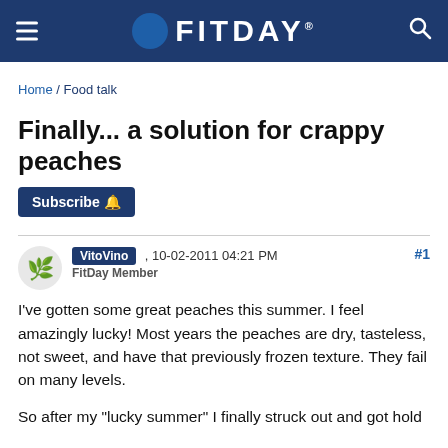[Figure (logo): FitDay website header with logo, hamburger menu, and search icon on dark blue background]
Home / Food talk
Finally... a solution for crappy peaches
Subscribe
VitoVino , 10-02-2011 04:21 PM  FitDay Member  #1
I've gotten some great peaches this summer. I feel amazingly lucky! Most years the peaches are dry, tasteless, not sweet, and have that previously frozen texture. They fail on many levels.
So after my "lucky summer" I finally struck out and got hold